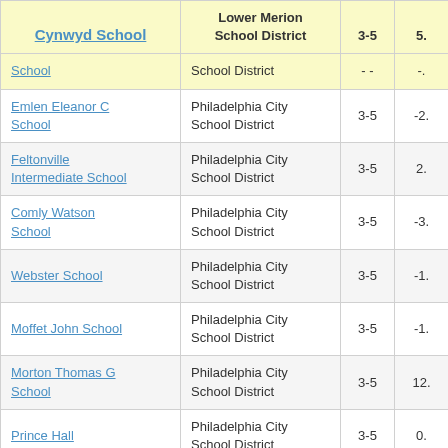| School Name | District | Grades | Value |
| --- | --- | --- | --- |
| Cynwyd School | Lower Merion School District | 3-5 | 5. |
| School | School District | - - | - |
| Emlen Eleanor C School | Philadelphia City School District | 3-5 | -2. |
| Feltonville Intermediate School | Philadelphia City School District | 3-5 | 2. |
| Comly Watson School | Philadelphia City School District | 3-5 | -3. |
| Webster School | Philadelphia City School District | 3-5 | -1. |
| Moffet John School | Philadelphia City School District | 3-5 | -1. |
| Morton Thomas G School | Philadelphia City School District | 3-5 | 12. |
| Prince Hall | Philadelphia City School District | 3-5 | 0. |